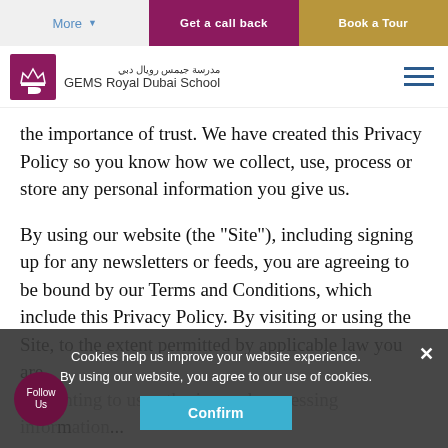More | Get a callback | Book a Tour
[Figure (logo): GEMS Royal Dubai School logo with Arabic text and purple icon]
the importance of trust. We have created this Privacy Policy so you know how we collect, use, process or store any personal information you give us.
By using our website (the "Site"), including signing up for any newsletters or feeds, you are agreeing to be bound by our Terms and Conditions, which include this Privacy Policy. By visiting or using the Site, to the extent permitted by applicable law you are consenting to us gathering and processing information... ivacy Policy, although it may not be uired for all of the elements described in this.
Cookies help us improve your website experience. By using our website, you agree to our use of cookies.